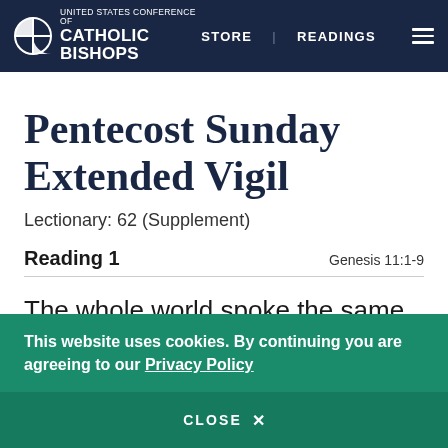UNITED STATES CONFERENCE OF CATHOLIC BISHOPS | STORE | READINGS
Pentecost Sunday Extended Vigil
Lectionary: 62 (Supplement)
Reading 1
Genesis 11:1-9
The whole world spoke the same language, using the same words.
This website uses cookies. By continuing you are agreeing to our Privacy Policy
CLOSE X